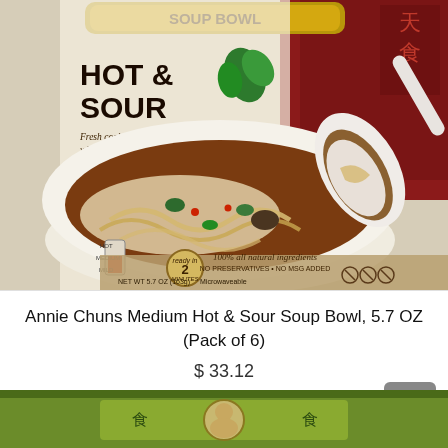[Figure (photo): Annie Chuns Medium Hot & Sour Soup Bowl product packaging photo showing a bowl of noodle soup with text: SOUP BOWL, HOT & SOUR, Fresh cooked Hokkien noodles with bok choy in a classic Chinese broth, NET WT 5.7 OZ (163g), Microwave safe, spice level 2, 100% all natural ingredients, No Preservatives, No MSG Added]
Annie Chuns Medium Hot & Sour Soup Bowl, 5.7 OZ (Pack of 6)
$ 33.12
[Figure (photo): Partial view of another Annie Chuns product with green packaging at the bottom of the page]